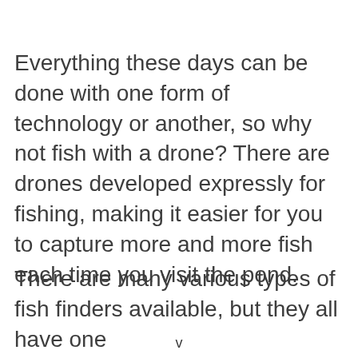Everything these days can be done with one form of technology or another, so why not fish with a drone? There are drones developed expressly for fishing, making it easier for you to capture more and more fish each time you visit the pond.
There are many various types of fish finders available, but they all have one
v